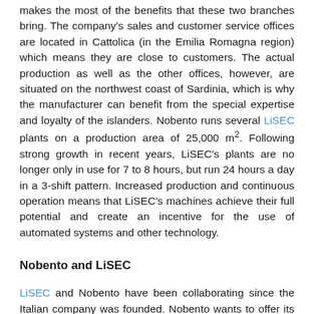makes the most of the benefits that these two branches bring. The company's sales and customer service offices are located in Cattolica (in the Emilia Romagna region) which means they are close to customers. The actual production as well as the other offices, however, are situated on the northwest coast of Sardinia, which is why the manufacturer can benefit from the special expertise and loyalty of the islanders. Nobento runs several LiSEC plants on a production area of 25,000 m². Following strong growth in recent years, LiSEC's plants are no longer only in use for 7 to 8 hours, but run 24 hours a day in a 3-shift pattern. Increased production and continuous operation means that LiSEC's machines achieve their full potential and create an incentive for the use of automated systems and other technology.
Nobento and LiSEC
LiSEC and Nobento have been collaborating since the Italian company was founded. Nobento wants to offer its customers a portfolio of first-class products which is why it has relied on LiSEC's production solutions from the very outset.